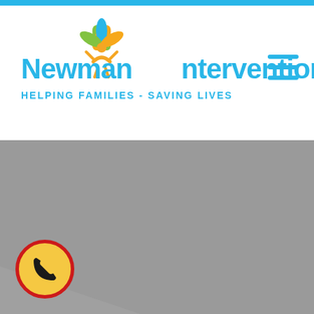[Figure (logo): Newman Interventions logo with colorful leaf/person icon and text 'Newman Interventions' with tagline 'HELPING FAMILIES - SAVING LIVES']
[Figure (photo): Large gray hero image area, likely a photo that failed to load or is placeholder gray]
[Figure (other): Yellow and red circle phone button icon in bottom left corner]